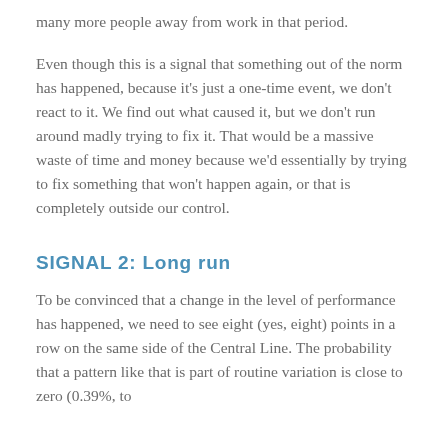many more people away from work in that period.
Even though this is a signal that something out of the norm has happened, because it's just a one-time event, we don't react to it. We find out what caused it, but we don't run around madly trying to fix it. That would be a massive waste of time and money because we'd essentially by trying to fix something that won't happen again, or that is completely outside our control.
SIGNAL 2: Long run
To be convinced that a change in the level of performance has happened, we need to see eight (yes, eight) points in a row on the same side of the Central Line. The probability that a pattern like that is part of routine variation is close to zero (0.39%, to